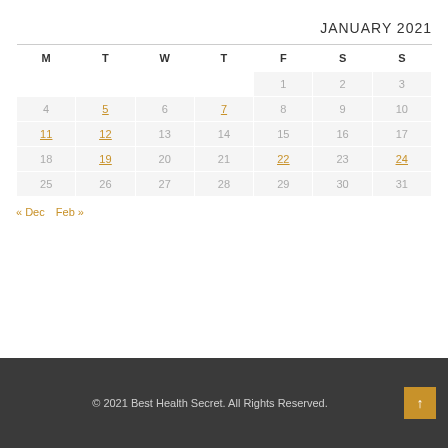JANUARY 2021
| M | T | W | T | F | S | S |
| --- | --- | --- | --- | --- | --- | --- |
|  |  |  |  | 1 | 2 | 3 |
| 4 | 5 | 6 | 7 | 8 | 9 | 10 |
| 11 | 12 | 13 | 14 | 15 | 16 | 17 |
| 18 | 19 | 20 | 21 | 22 | 23 | 24 |
| 25 | 26 | 27 | 28 | 29 | 30 | 31 |
« Dec  Feb »
© 2021 Best Health Secret. All Rights Reserved.